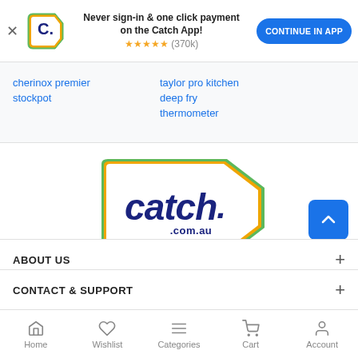[Figure (screenshot): Catch app promotion banner with Catch logo icon, text 'Never sign-in & one click payment on the Catch App!', star rating (370k), and blue 'CONTINUE IN APP' button]
cherinox premier stockpot
taylor pro kitchen deep fry thermometer
[Figure (logo): Catch.com.au logo - orange and green shield/badge shape with blue 'catch.' text and '.com.au' below]
ABOUT US
CONTACT & SUPPORT
Home  Wishlist  Categories  Cart  Account